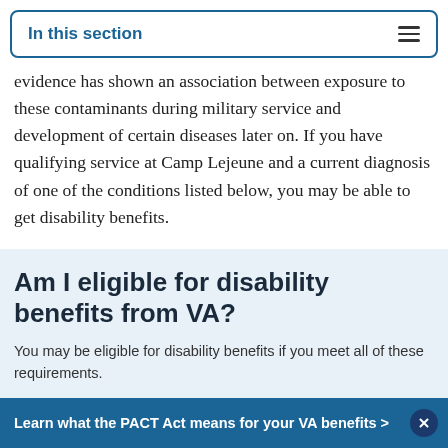In this section
evidence has shown an association between exposure to these contaminants during military service and development of certain diseases later on. If you have qualifying service at Camp Lejeune and a current diagnosis of one of the conditions listed below, you may be able to get disability benefits.
Am I eligible for disability benefits from VA?
You may be eligible for disability benefits if you meet all of these requirements.
Both of these must be true:
Learn what the PACT Act means for your VA benefits >